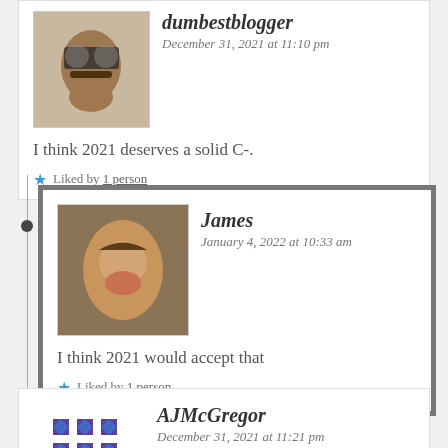dumbestblogger
December 31, 2021 at 11:10 pm
I think 2021 deserves a solid C-.
Liked by 1 person
James
January 4, 2022 at 10:33 am
I think 2021 would accept that
Liked by 1 person
AJMcGregor
December 31, 2021 at 11:21 pm